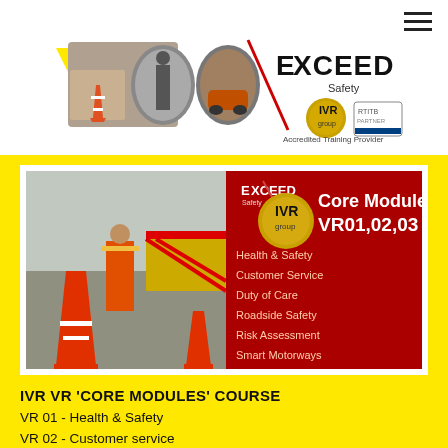[Figure (logo): Exceed Safety logo with IVR and RTITB Accredited Training Provider badges, alongside collage of road safety images]
[Figure (photo): IVR Core Modules VR01,02,03 course banner showing road worker with traffic cones, listing Health & Safety, Customer Service, Duty of Care, Roadside Safety, Risk Assessment, Smart Motorways]
IVR  VR 'CORE MODULES' COURSE
VR 01 - Health & Safety
VR 02 - Customer service
VR 03 - Roadside Assessment
The 'Core Modules' include the essential Health